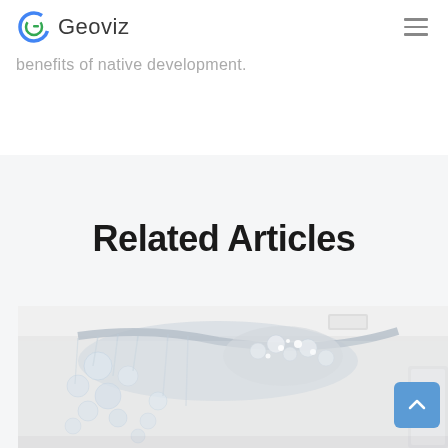Geoviz
benefits of native development.
Related Articles
[Figure (photo): Interior photo of a large decorative chandelier made of glass bubbles/spheres hanging from a ceiling in an elegant event space or hall.]